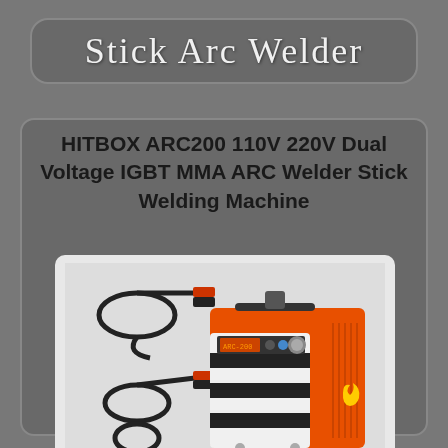Stick Arc Welder
HITBOX ARC200 110V 220V Dual Voltage IGBT MMA ARC Welder Stick Welding Machine
[Figure (photo): HITBOX ARC200 stick arc welder machine in orange and black/white color, shown with welding cables and clamps. The machine has a digital display and a large control knob on the front panel, with ventilation slots on the side and the HITBOX logo (flame symbol).]